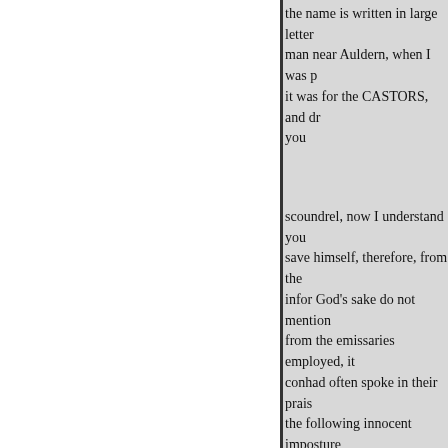the name is written in large letter man near Auldern, when I was p it was for the CASTORS, and dr you
scoundrel, now I understand you save himself, therefore, from the infor God's sake do not mention from the emissaries employed, it conhad often spoke in their prais the following innocent imposture indushealth, nor the people that w
pared for them. The coffin, the It Edinburgh, who are, in general, with the same formality as if he him, crier that can read neither S them, when actually formed, laid whole funeral soalmost at every advertisement, lay- said, when th to be alive, notwithwhen it shou